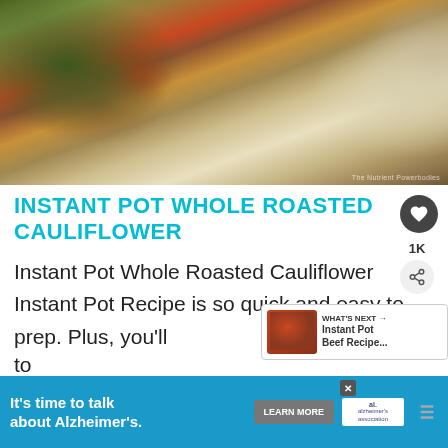[Figure (photo): A slice of layered casserole dish with pepperoni and ground meat on a white plate with parsley garnish, forks in background, watermark reads 'The Nutrient Powerbodies']
INSTANT POT WHOLE ROASTED CAULIFLOWER
Instant Pot Whole Roasted Cauliflower Instant Pot Recipe is so quick and easy to prep. Plus, you'll
[Figure (infographic): What's Next promotional bubble showing Instant Pot Beef Recipe thumbnail]
[Figure (infographic): Advertisement banner: It's time to talk about Alzheimer's. LEARN MORE button. Alzheimer's Association logo with close X button.]